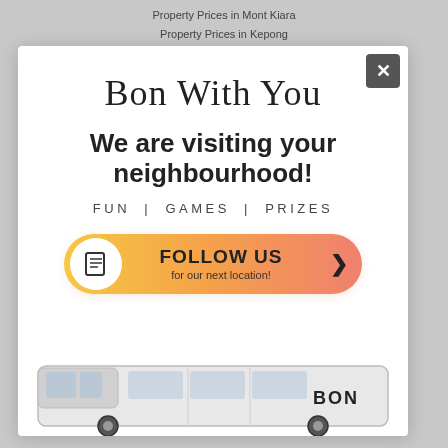Property Prices in Mont Kiara
Property Prices in Kepong
Bon With You
We are visiting your neighbourhood!
FUN | GAMES | PRIZES
[Figure (illustration): Orange gradient rounded button with document icon and text: FOLLOW US > for our next location!]
[Figure (photo): Bottom portion of a white van with BON branding visible]